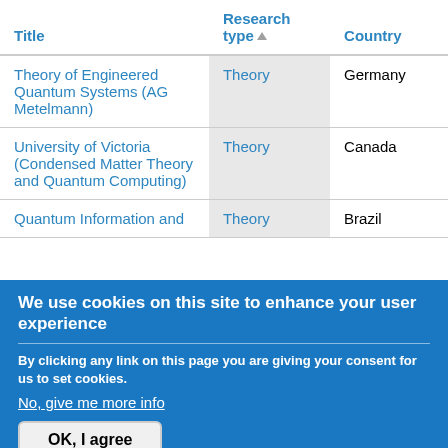| Title | Research type | Country |
| --- | --- | --- |
| Theory of Engineered Quantum Systems (AG Metelmann) | Theory | Germany |
| University of Victoria (Condensed Matter Theory and Quantum Computing) | Theory | Canada |
| Quantum Information and | Theory | Brazil |
We use cookies on this site to enhance your user experience
By clicking any link on this page you are giving your consent for us to set cookies.
No, give me more info
OK, I agree